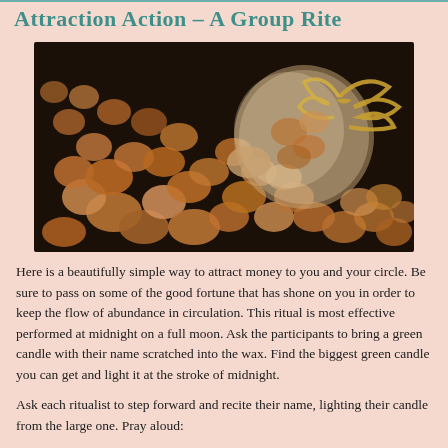Attraction Action – A Group Rite
[Figure (photo): A glass jar tipped on its side with copper coins (pennies) spilling out onto a dark surface, tied with raffia/straw ribbon at the neck.]
Here is a beautifully simple way to attract money to you and your circle. Be sure to pass on some of the good fortune that has shone on you in order to keep the flow of abundance in circulation. This ritual is most effective performed at midnight on a full moon. Ask the participants to bring a green candle with their name scratched into the wax. Find the biggest green candle you can get and light it at the stroke of midnight.
Ask each ritualist to step forward and recite their name, lighting their candle from the large one. Pray aloud: